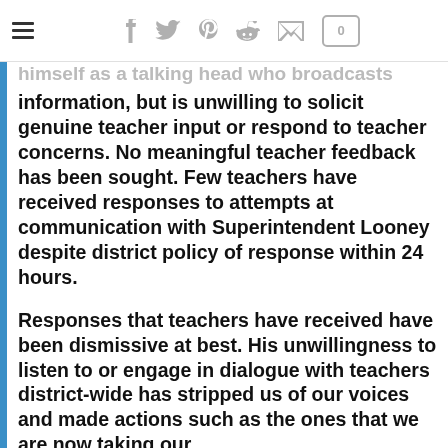[hamburger menu] [social share icons: facebook, twitter, pinterest, reddit, email, comments(0)]
information, but is unwilling to solicit genuine teacher input or respond to teacher concerns. No meaningful teacher feedback has been sought. Few teachers have received responses to attempts at communication with Superintendent Looney despite district policy of response within 24 hours.
Responses that teachers have received have been dismissive at best. His unwillingness to listen to or engage in dialogue with teachers district-wide has stripped us of our voices and made actions such as the ones that we are now taking our